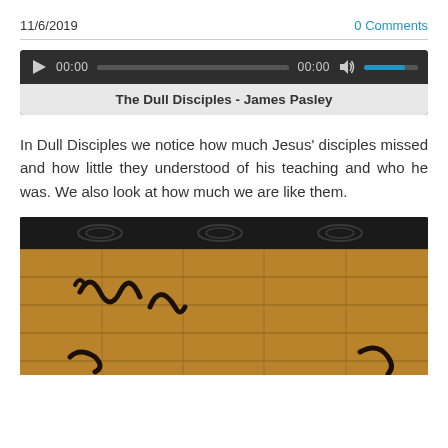11/6/2019
0 Comments
[Figure (screenshot): Audio player widget showing play button, time display 00:00, progress bar, volume icon, and blue volume bar. Label below reads: The Dull Disciples - James Pasley]
In Dull Disciples we notice how much Jesus' disciples missed and how little they understood of his teaching and who he was. We also look at how much we are like them.
[Figure (photo): Close-up photo of a wooden welcome sign with decorative black metal/iron frame at top and cursive black lettering on wooden plank background.]